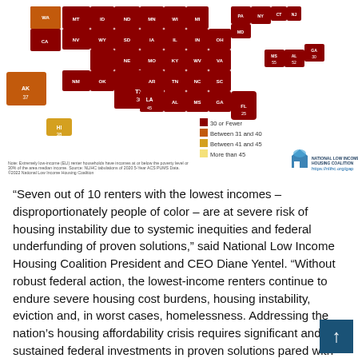[Figure (map): US choropleth map showing affordable homes available per 100 extremely low-income renter households by state. Color legend: dark red = 30 or Fewer, orange = Between 31 and 40, gold = Between 41 and 45, light yellow = More than 45. States labeled with abbreviations and numbers. Includes NLIHC logo and URL https://nlihc.org/gap]
“Seven out of 10 renters with the lowest incomes – disproportionately people of color – are at severe risk of housing instability due to systemic inequities and federal underfunding of proven solutions,” said National Low Income Housing Coalition President and CEO Diane Yentel. “Without robust federal action, the lowest-income renters continue to endure severe housing cost burdens, housing instability, eviction and, in worst cases, homelessness. Addressing the nation’s housing affordability crisis requires significant and sustained federal investments in proven solutions pared with robust and permanent renter protections.”